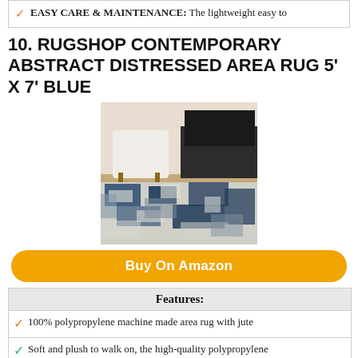EASY CARE & MAINTENANCE: The lightweight easy to
10. RUGSHOP CONTEMPORARY ABSTRACT DISTRESSED AREA RUG 5' X 7' BLUE
[Figure (photo): Photo of a blue and white abstract distressed area rug in a modern living room setting with a white chair and dark TV stand.]
Buy On Amazon
| Features: |
| --- |
| 100% polypropylene machine made area rug with jute |
| Soft and plush to walk on, the high-quality polypropylene |
| Suits any room: This collection offers area rugs that are |